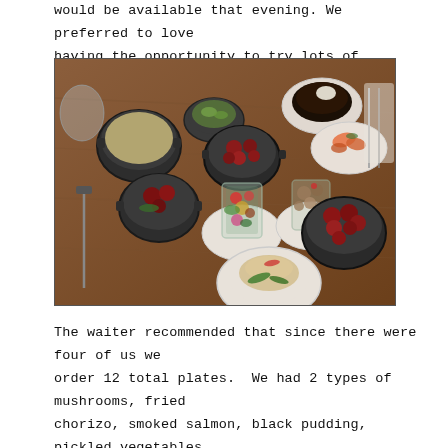would be available that evening. We preferred to love having the opportunity to try lots of different things.
[Figure (photo): A restaurant table with multiple small dishes and glasses containing various tapas-style plates: mushroom dishes in dark cast iron pots, a glass with colorful salad, pickled vegetables, smoked salmon, black pudding, and a plate with a rice or grain dish garnished with arugula. A knife and fork are visible on the sides.]
The waiter recommended that since there were four of us we order 12 total plates. We had 2 types of mushrooms, fried chorizo, smoked salmon, black pudding, pickled vegetables,